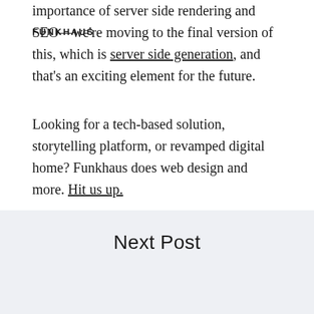FUNKHAUS
importance of server side rendering and SEO—we're moving to the final version of this, which is server side generation, and that's an exciting element for the future.
Looking for a tech-based solution, storytelling platform, or revamped digital home? Funkhaus does web design and more. Hit us up.
Next Post